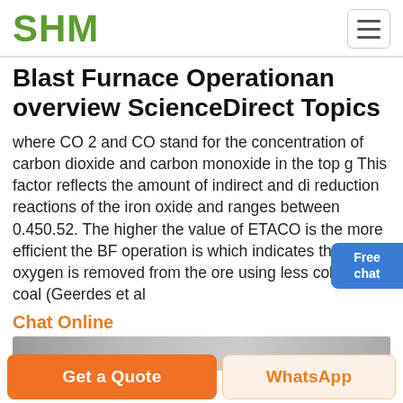SHM
Blast Furnace Operationan overview ScienceDirect Topics
where CO 2 and CO stand for the concentration of carbon dioxide and carbon monoxide in the top g This factor reflects the amount of indirect and di reduction reactions of the iron oxide and ranges between 0.450.52. The higher the value of ETACO is the more efficient the BF operation is which indicates that the oxygen is removed from the ore using less coke and coal (Geerdes et al
Chat Online
[Figure (photo): Partial image strip of what appears to be an industrial interior, bottom of page.]